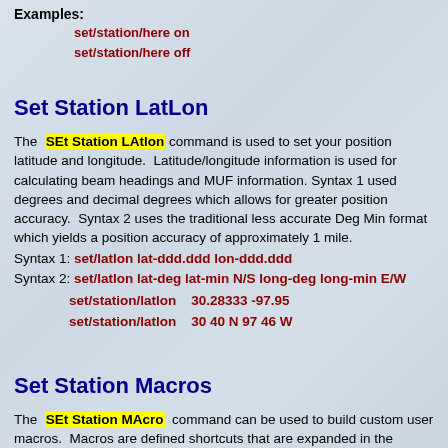Examples:
set/station/here on
set/station/here off
Set Station LatLon
The SEt Station LAtlon command is used to set your position latitude and longitude. Latitude/longitude information is used for calculating beam headings and MUF information. Syntax 1 used degrees and decimal degrees which allows for greater position accuracy. Syntax 2 uses the traditional less accurate Deg Min format which yields a position accuracy of approximately 1 mile.
Syntax 1: set/latlon lat-ddd.ddd lon-ddd.ddd
Syntax 2: set/latlon lat-deg lat-min N/S long-deg long-min E/W
set/station/latlon   30.28333 -97.95
set/station/latlon   30 40 N 97 46 W
Set Station Macros
The SEt Station MAcro command can be used to build custom user macros. Macros are defined shortcuts that are expanded in the